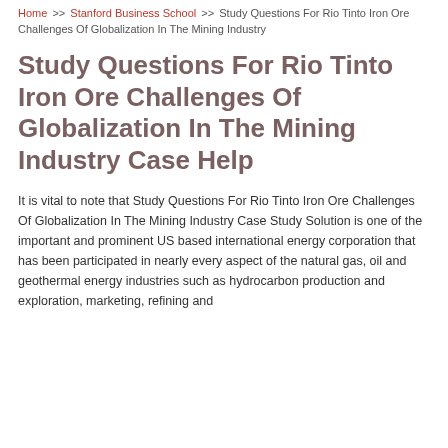Home >> Stanford Business School >> Study Questions For Rio Tinto Iron Ore Challenges Of Globalization In The Mining Industry
Study Questions For Rio Tinto Iron Ore Challenges Of Globalization In The Mining Industry Case Help
It is vital to note that Study Questions For Rio Tinto Iron Ore Challenges Of Globalization In The Mining Industry Case Study Solution is one of the important and prominent US based international energy corporation that has been participated in nearly every aspect of the natural gas, oil and geothermal energy industries such as hydrocarbon production and exploration, marketing, refining and